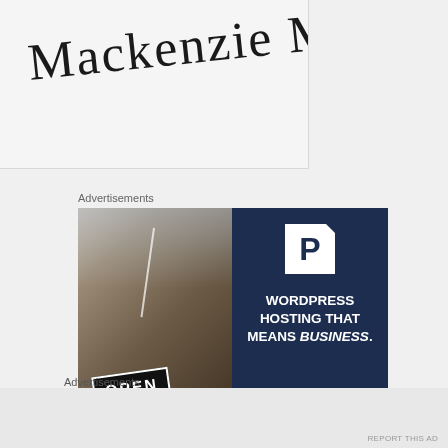[Figure (illustration): Cursive/script handwritten signature text reading 'Mackenzie Marie' on light gray background]
Advertisements
[Figure (photo): Advertisement banner for WordPress hosting service (Pressable). Left half shows a woman smiling, holding an OPEN sign. Right half is dark navy blue with a P logo, text reading 'WORDPRESS HOSTING THAT MEANS BUSINESS.' and a 'LEARN MORE' button.]
Advertisements